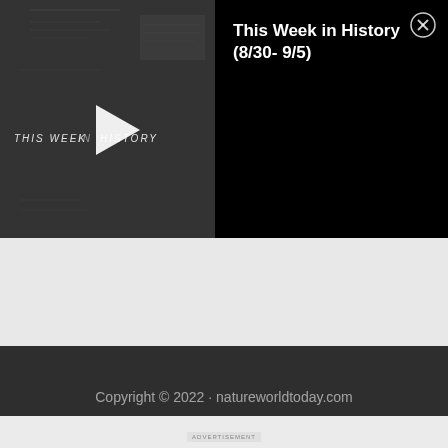[Figure (screenshot): Video thumbnail showing 'THIS WEEK IN HISTORY' text overlay on dark newspaper background with a white play button triangle in the center]
This Week in History (8/30- 9/5)
Copyright © 2022 · natureworldtoday.com
ADVERTISEMENT